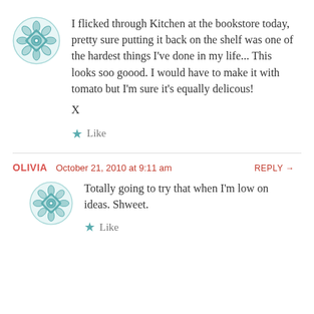I flicked through Kitchen at the bookstore today, pretty sure putting it back on the shelf was one of the hardest things I've done in my life... This looks soo goood. I would have to make it with tomato but I'm sure it's equally delicous!

X
★ Like
OLIVIA   October 21, 2010 at 9:11 am   REPLY →
Totally going to try that when I'm low on ideas. Shweet.
★ Like